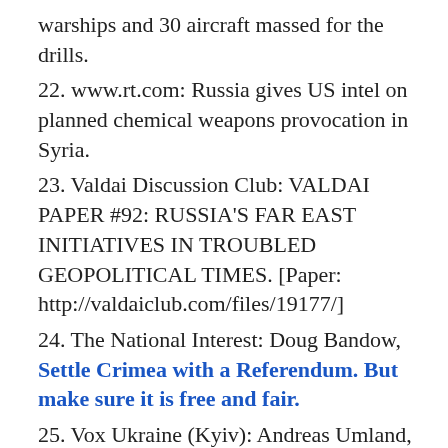warships and 30 aircraft massed for the drills.
22. www.rt.com: Russia gives US intel on planned chemical weapons provocation in Syria.
23. Valdai Discussion Club: VALDAI PAPER #92: RUSSIA'S FAR EAST INITIATIVES IN TROUBLED GEOPOLITICAL TIMES. [Paper: http://valdaiclub.com/files/19177/]
24. The National Interest: Doug Bandow, Settle Crimea with a Referendum. But make sure it is free and fair.
25. Vox Ukraine (Kyiv): Andreas Umland, Whom Does Crimea Belong to? Russia's annexation of the Ukrainian Peninsula and the question of historical justice. (excerpt) [voxukraine.org/en/were-there-any-real-historical-grounds-for-the-annexation-of-